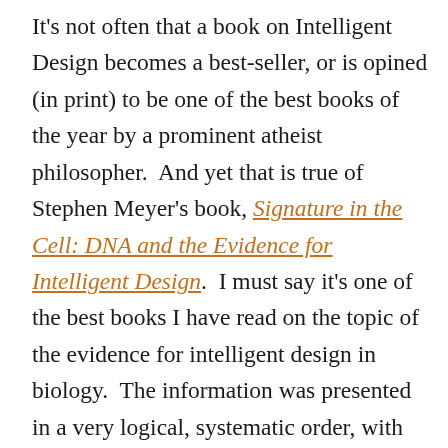It's not often that a book on Intelligent Design becomes a best-seller, or is opined (in print) to be one of the best books of the year by a prominent atheist philosopher.  And yet that is true of Stephen Meyer's book, Signature in the Cell: DNA and the Evidence for Intelligent Design.  I must say it's one of the best books I have read on the topic of the evidence for intelligent design in biology.  The information was presented in a very logical, systematic order, with each chapter building naturally on the former.  Not only was Meyer's approach systematic, but he presented difficult concepts in very understandable ways.  Coming in at 561 pages of text, it is not a quick read, but the